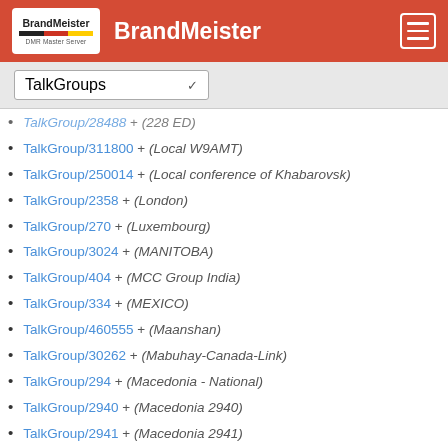BrandMeister
TalkGroups (dropdown)
TalkGroup/28488 + (228 ED)
TalkGroup/311800 + (Local W9AMT)
TalkGroup/250014 + (Local conference of Khabarovsk)
TalkGroup/2358 + (London)
TalkGroup/270 + (Luxembourg)
TalkGroup/3024 + (MANITOBA)
TalkGroup/404 + (MCC Group India)
TalkGroup/334 + (MEXICO)
TalkGroup/460555 + (Maanshan)
TalkGroup/30262 + (Mabuhay-Canada-Link)
TalkGroup/294 + (Macedonia - National)
TalkGroup/2940 + (Macedonia 2940)
TalkGroup/2941 + (Macedonia 2941)
TalkGroup/29400 + (Macedonian CHAT-ROOM)
TalkGroup/5021 + (Malaysia Talkgroup)